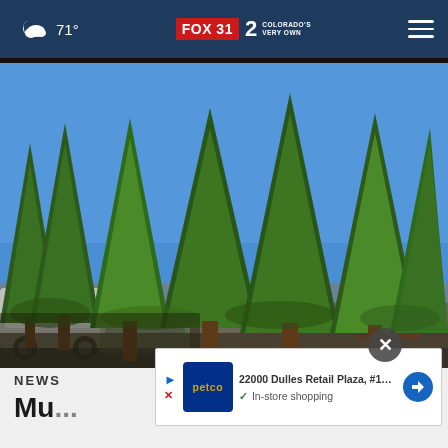71° FOX31 2 COLORADO'S VERY OWN
[Figure (photo): Outdoor scene with tall green pine trees against a bright blue sky, with vehicles parked in the lower left foreground and a reddish structure partially visible on the right side]
NEWS
Mu... ...h of f... ...s in Co...
[Figure (infographic): Advertisement overlay showing Petco logo with text '22000 Dulles Retail Plaza, #110, S...' and 'In-store shopping' with a navigation arrow icon]